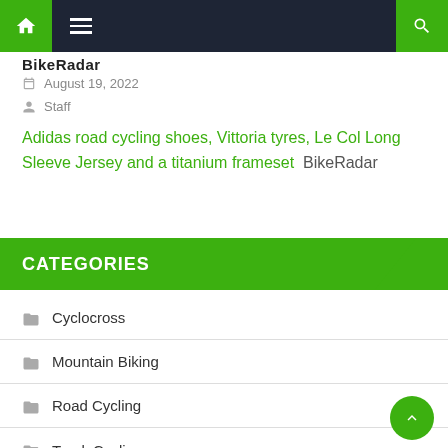Navigation bar with home, menu, and search icons
BikeRadar
August 19, 2022
Staff
Adidas road cycling shoes, Vittoria tyres, Le Col Long Sleeve Jersey and a titanium frameset  BikeRadar
CATEGORIES
Cyclocross
Mountain Biking
Road Cycling
Track Cycling